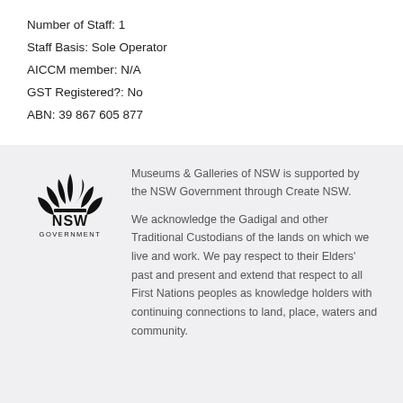Number of Staff: 1
Staff Basis: Sole Operator
AICCM member: N/A
GST Registered?: No
ABN: 39 867 605 877
[Figure (logo): NSW Government logo with lotus flower emblem above the text NSW GOVERNMENT]
Museums & Galleries of NSW is supported by the NSW Government through Create NSW.

We acknowledge the Gadigal and other Traditional Custodians of the lands on which we live and work. We pay respect to their Elders' past and present and extend that respect to all First Nations peoples as knowledge holders with continuing connections to land, place, waters and community.